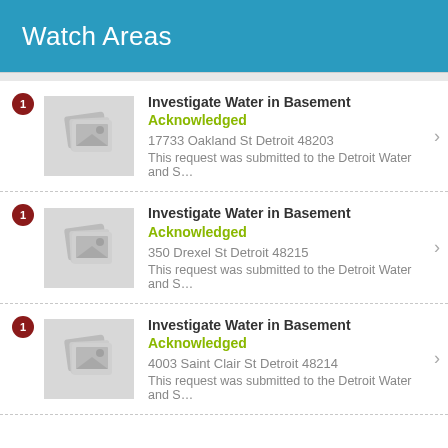Watch Areas
Investigate Water in Basement Acknowledged
17733 Oakland St Detroit 48203
This request was submitted to the Detroit Water and S...
Investigate Water in Basement Acknowledged
350 Drexel St Detroit 48215
This request was submitted to the Detroit Water and S...
Investigate Water in Basement Acknowledged
4003 Saint Clair St Detroit 48214
This request was submitted to the Detroit Water and S...